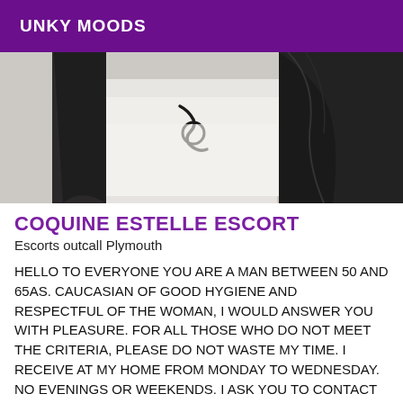UNKY MOODS
[Figure (photo): Close-up photo showing a person lying on a white surface wearing dark/black clothing, partially cropped view]
COQUINE ESTELLE ESCORT
Escorts outcall Plymouth
HELLO TO EVERYONE YOU ARE A MAN BETWEEN 50 AND 65AS. CAUCASIAN OF GOOD HYGIENE AND RESPECTFUL OF THE WOMAN, I WOULD ANSWER YOU WITH PLEASURE. FOR ALL THOSE WHO DO NOT MEET THE CRITERIA, PLEASE DO NOT WASTE MY TIME. I RECEIVE AT MY HOME FROM MONDAY TO WEDNESDAY. NO EVENINGS OR WEEKENDS. I ASK YOU TO CONTACT ME FROM 9:00 AM TO 12:00